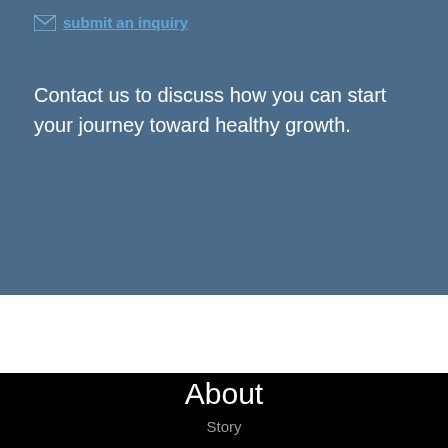submit an inquiry
Contact us to discuss how you can start your journey toward healthy growth.
About
Story
People
Guarantee
Clients
Thought Leadership